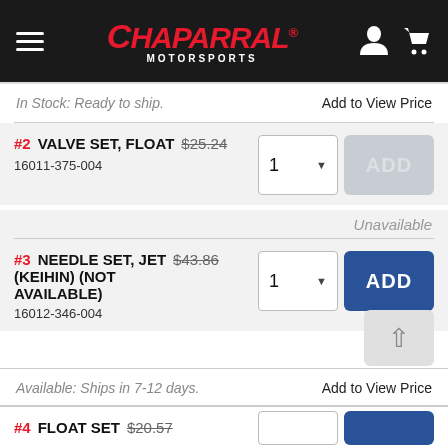[Figure (screenshot): Chaparral Motorsports website header with hamburger menu, red italic logo, and white user/cart icons on dark background]
In Stock: Ready to ship.
Add to View Price
#2 VALVE SET, FLOAT $25.24 16011-375-004
Unavailable
#3 NEEDLE SET, JET (KEIHIN) (NOT AVAILABLE) $43.86 16012-346-004
Available: Ships in 7-12 days.
Add to View Price
#4 FLOAT SET $20.57